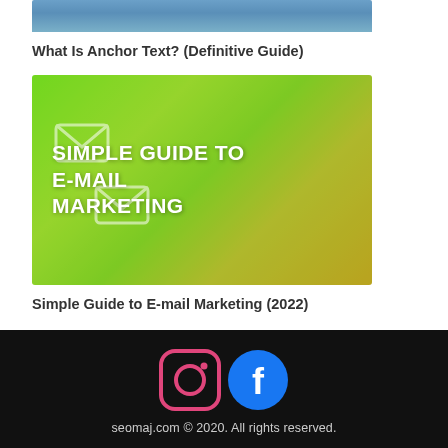[Figure (photo): Partial top image (cropped) related to Anchor Text article]
What Is Anchor Text? (Definitive Guide)
[Figure (illustration): Green-tinted banner image with text 'SIMPLE GUIDE TO E-MAIL MARKETING' and envelope icons on a tablet background]
Simple Guide to E-mail Marketing (2022)
seomaj.com © 2020. All rights reserved.